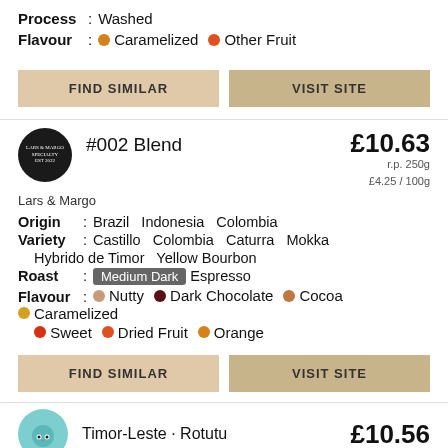Process : Washed
Flavour : Caramelized  Other Fruit
FIND SIMILAR
VISIT SITE
[Figure (logo): Lars & Margo circular black logo]
#002 Blend
£10.63 r.p. 250g £4.25 / 100g
Lars & Margo
Origin : Brazil Indonesia Colombia
Variety : Castillo Colombia Caturra Mokka Hybrido de Timor Yellow Bourbon
Roast : Medium Dark Espresso
Flavour : Nutty Dark Chocolate Cocoa Caramelized Sweet Dried Fruit Orange
FIND SIMILAR
VISIT SITE
[Figure (logo): Teal circular logo with cat face icon]
Timor-Leste · Rotutu
£10.56